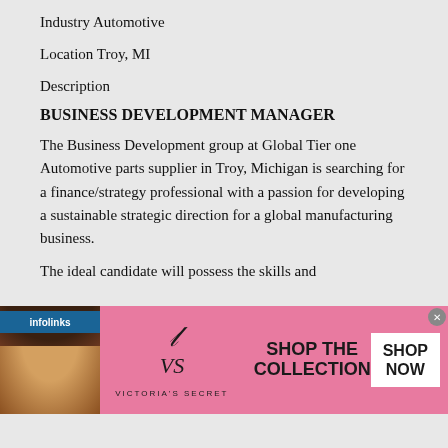Industry Automotive
Location Troy, MI
Description
BUSINESS DEVELOPMENT MANAGER
The Business Development group at Global Tier one Automotive parts supplier in Troy, Michigan is searching for a finance/strategy professional with a passion for developing a sustainable strategic direction for a global manufacturing business.
The ideal candidate will possess the skills and
[Figure (screenshot): Victoria's Secret advertisement banner with pink background, model photo, VS logo, 'SHOP THE COLLECTION' text, and 'SHOP NOW' button]